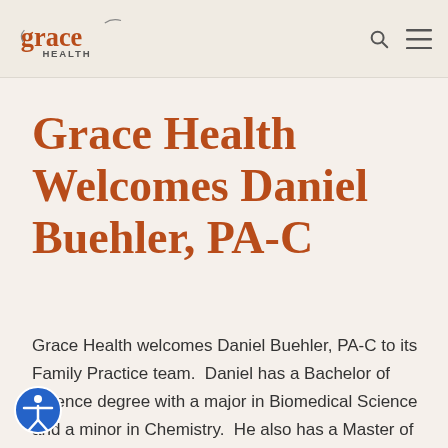Grace Health
Grace Health Welcomes Daniel Buehler, PA-C
Grace Health welcomes Daniel Buehler, PA-C to its Family Practice team.  Daniel has a Bachelor of Science degree with a major in Biomedical Science and a minor in Chemistry.  He also has a Master of